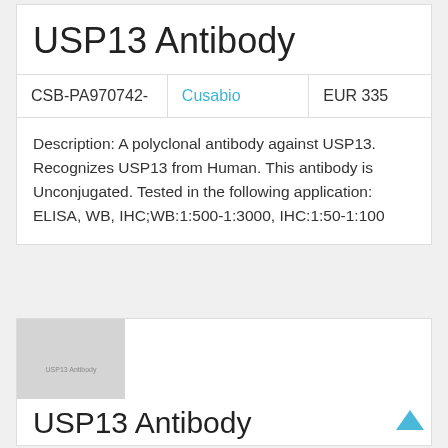USP13 Antibody
| Catalog | Brand | Price |
| --- | --- | --- |
| CSB-PA970742- | Cusabio | EUR 335 |
Description: A polyclonal antibody against USP13. Recognizes USP13 from Human. This antibody is Unconjugated. Tested in the following application: ELISA, WB, IHC;WB:1:500-1:3000, IHC:1:50-1:100
[Figure (photo): Placeholder image labeled 'USP13 Antibody' with grey background]
USP13 Antibody